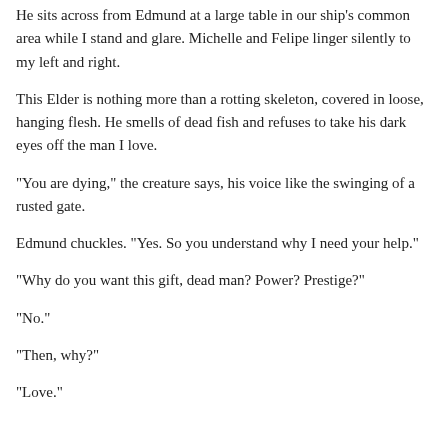He sits across from Edmund at a large table in our ship's common area while I stand and glare. Michelle and Felipe linger silently to my left and right.
This Elder is nothing more than a rotting skeleton, covered in loose, hanging flesh. He smells of dead fish and refuses to take his dark eyes off the man I love.
“You are dying,” the creature says, his voice like the swinging of a rusted gate.
Edmund chuckles. “Yes. So you understand why I need your help.”
“Why do you want this gift, dead man? Power? Prestige?”
“No.”
“Then, why?”
“Love.”